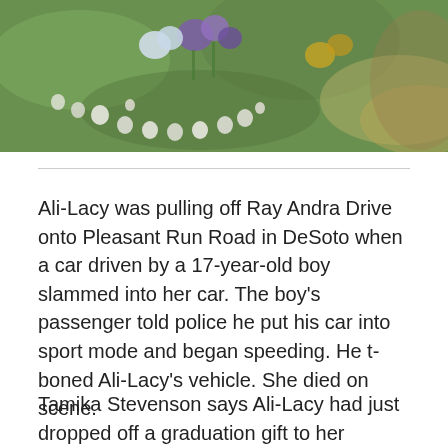[Figure (photo): Photo of a roadside memorial with flowers and small white objects arranged on green grass]
Ali-Lacy was pulling off Ray Andra Drive onto Pleasant Run Road in DeSoto when a car driven by a 17-year-old boy slammed into her car. The boy's passenger told police he put his car into sport mode and began speeding. He t-boned Ali-Lacy's vehicle. She died on scene.
Tamika Stevenson says Ali-Lacy had just dropped off a graduation gift to her nephew, who lives near the scene of the accident.
"She was like a sister to me. So, I had just gotten off the phone with her probably 20-30 minutes prior," she